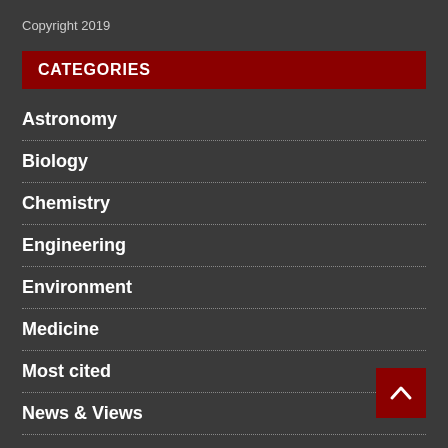Copyright 2019
CATEGORIES
Astronomy
Biology
Chemistry
Engineering
Environment
Medicine
Most cited
News & Views